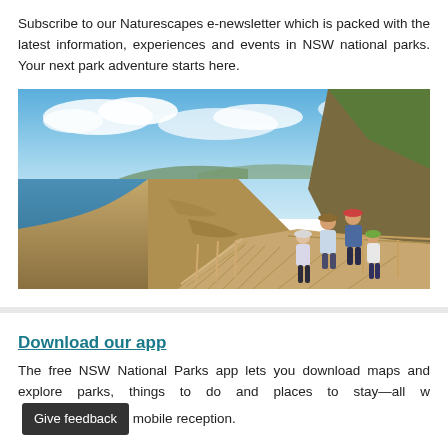Subscribe to our Naturescapes e-newsletter which is packed with the latest information, experiences and events in NSW national parks. Your next park adventure starts here.
[Figure (photo): Family of four walking along a wooden boardwalk overlooking coastal cliffs and ocean, under a partly cloudy blue sky. Rocky headland visible on the right.]
Download our app
The free NSW National Parks app lets you download maps and explore parks, things to do and places to stay—all without mobile reception.